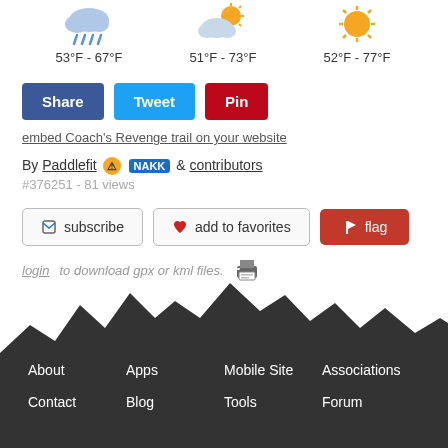[Figure (infographic): Three weather forecast icons (rain, partly cloudy, sunny) with temperature ranges: 53°F - 67°F, 51°F - 73°F, 52°F - 77°F]
53°F - 67°F   51°F - 73°F   52°F - 77°F
[Figure (infographic): Social sharing buttons: Share (blue), Tweet (light blue), Pin (red)]
embed Coach's Revenge trail on your website
By Paddlefit [warning icon] [NAKK badge] & contributors
#376251 - 81 views
[Figure (infographic): Action buttons: subscribe (tag icon), add to favorites (heart icon), flag (flag icon red)]
login to download gpx or kml files. [printer icon]
[Figure (illustration): Dark mountain silhouette footer background]
About   Apps   Mobile Site   Associations
Contact   Blog   Tools   Forum